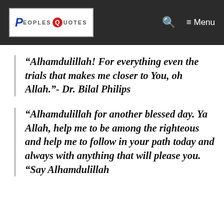PeoplesQuotes — Menu
“Alhamdulillah! For everything even the trials that makes me closer to You, oh Allah.”- Dr. Bilal Philips
“Alhamdulillah for another blessed day. Ya Allah, help me to be among the righteous and help me to follow in your path today and always with anything that will please you. “Say Alhamdulillah